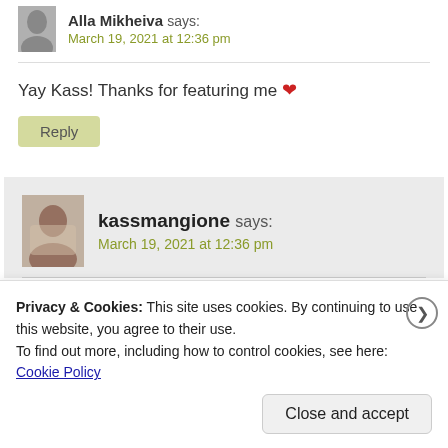Alla Mikheiva says: March 19, 2021 at 12:36 pm
Yay Kass! Thanks for featuring me ❤
Reply
kassmangione says: March 19, 2021 at 12:36 pm
Privacy & Cookies: This site uses cookies. By continuing to use this website, you agree to their use.
To find out more, including how to control cookies, see here: Cookie Policy
Close and accept